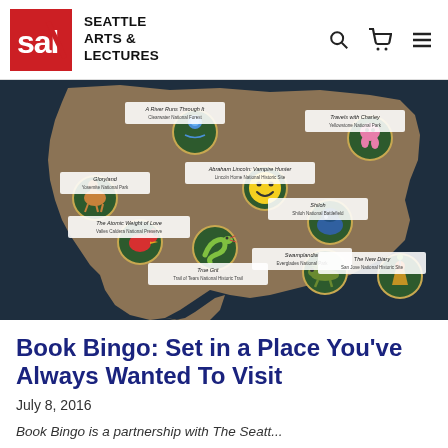SEATTLE ARTS & LECTURES
[Figure (map): An illustrated map of North America showing book titles and associated National Parks/Historic Sites as labeled pins with circular icons depicting characters or symbols. Labels include: A River Runs Through It (Clearwater National Forest), Travels with Charley (Yellowstone National Park), Gloryland (Yosemite National Park), Abraham Lincoln: Vampire Hunter (Lincoln Home National Historic Site), The Atomic Weight of Love (Valles Caldera National Preserve), True Grit (Trail of Tears National Historic Trail), Shiloh (Shiloh National Battlefield), Swamplandia! (Everglades National Park), The New Diary (San Jose National Historic Site).]
Book Bingo: Set in a Place You've Always Wanted To Visit
July 8, 2016
Book Bingo is a partnership with The Seatt...